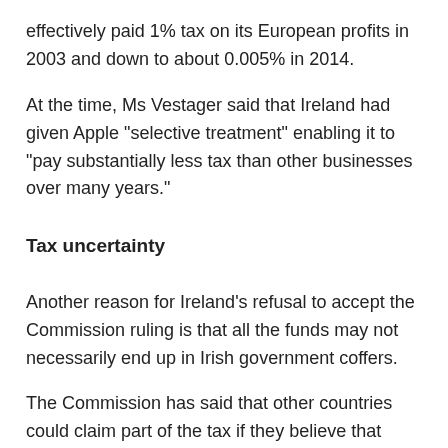effectively paid 1% tax on its European profits in 2003 and down to about 0.005% in 2014.
At the time, Ms Vestager said that Ireland had given Apple "selective treatment" enabling it to "pay substantially less tax than other businesses over many years."
Tax uncertainty
Another reason for Ireland's refusal to accept the Commission ruling is that all the funds may not necessarily end up in Irish government coffers.
The Commission has said that other countries could claim part of the tax if they believe that sales (and other activities)